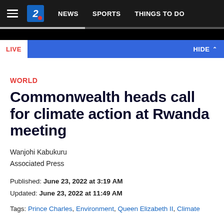NEWS  SPORTS  THINGS TO DO
WORLD
Commonwealth heads call for climate action at Rwanda meeting
Wanjohi Kabukuru
Associated Press
Published: June 23, 2022 at 3:19 AM
Updated: June 23, 2022 at 11:49 AM
Tags: Prince Charles, Environment, Queen Elizabeth II, Climate